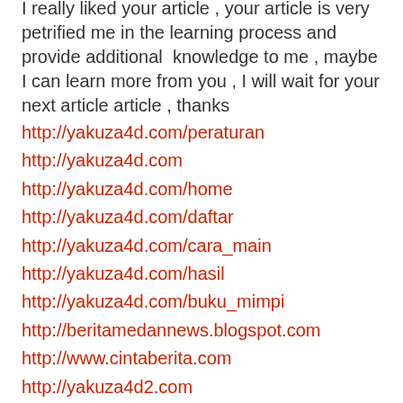I really liked your article , your article is very petrified me in the learning process and provide additional  knowledge to me , maybe I can learn more from you , I will wait for your next article article , thanks
http://yakuza4d.com/peraturan
http://yakuza4d.com
http://yakuza4d.com/home
http://yakuza4d.com/daftar
http://yakuza4d.com/cara_main
http://yakuza4d.com/hasil
http://yakuza4d.com/buku_mimpi
http://beritamedannews.blogspot.com
http://www.cintaberita.com
http://yakuza4d2.com
http://yakuza4d2.com/promo
http://yakuza4d2.com/daftar
http://yakuza4d2.com/cara_main
http://yakuza4d2.com/hasil
http://yakuza4d2.com/buku_mimpi
Reply